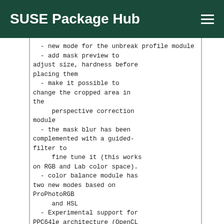SUSE Package Hub
- new mode for the unbreak profile module
  - add mask preview to adjust size, hardness before placing them
  - make it possible to change the cropped area in the
      perspective correction module
  - the mask blur has been complemented with a guided-filter to
      fine tune it (this works on RGB and Lab color space).
  - color balance module has two new modes based on ProPhotoRGB
      and HSL
  - Experimental support for PPC64le architecture (OpenCL support
      needs to be disabled, `-DUSE_OPENCL=OFF`)
  - New Features And Changes
  - search from the map view is now fixed
  - visual rework of the lighttable (color label, image kind,
      local copy)
  - an option make it possible to display some image information